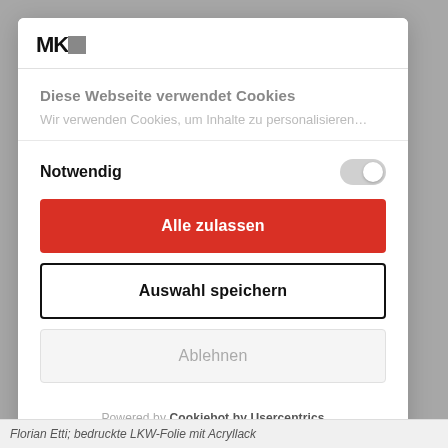[Figure (logo): MKH logo mark in top left of modal header]
Diese Webseite verwendet Cookies
Wir verwenden Cookies, um Inhalte zu personalisieren…
Notwendig
Alle zulassen
Auswahl speichern
Ablehnen
Powered by Cookiebot by Usercentrics
Florian Etti; bedruckte LKW-Folie mit Acryllack